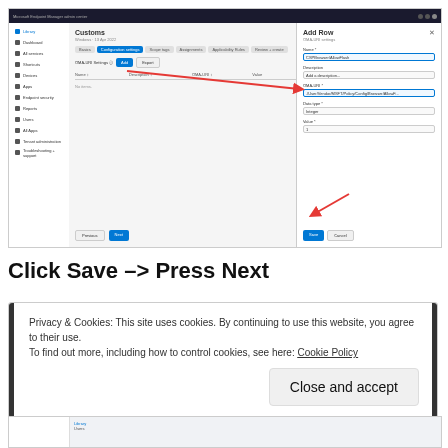[Figure (screenshot): Microsoft Endpoint Manager admin center screenshot showing Customs configuration page with an 'Add Row' panel open on the right side. The Add Row panel shows fields for Name, Description, OMA-URI, Data type, and Value. Red arrows point to the Save button in the panel and the Add button in the main content area.]
Click Save -> Press Next
Privacy & Cookies: This site uses cookies. By continuing to use this website, you agree to their use.
To find out more, including how to control cookies, see here: Cookie Policy
Close and accept